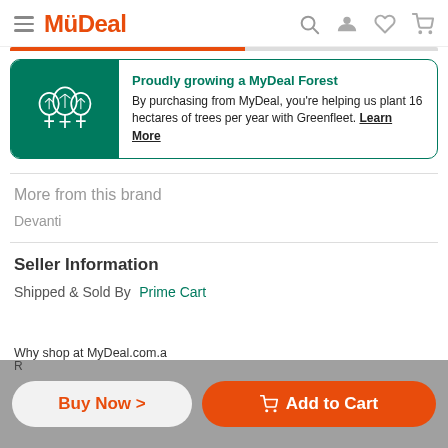MyDeal
[Figure (infographic): Proudly growing a MyDeal Forest banner with tree icons on dark green background. Text: By purchasing from MyDeal, you're helping us plant 16 hectares of trees per year with Greenfleet. Learn More]
More from this brand
Devanti
Seller Information
Shipped & Sold By  Prime Cart
Buy Now >
Add to Cart